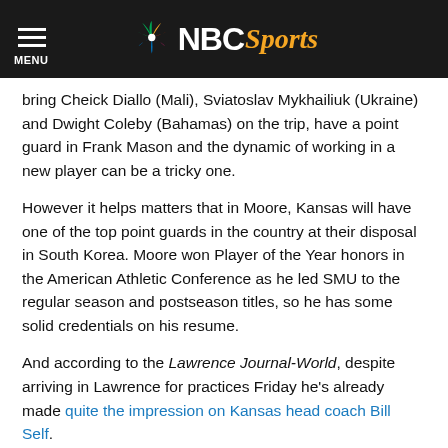NBC Sports
bring Cheick Diallo (Mali), Sviatoslav Mykhailiuk (Ukraine) and Dwight Coleby (Bahamas) on the trip, have a point guard in Frank Mason and the dynamic of working in a new player can be a tricky one.
However it helps matters that in Moore, Kansas will have one of the top point guards in the country at their disposal in South Korea. Moore won Player of the Year honors in the American Athletic Conference as he led SMU to the regular season and postseason titles, so he has some solid credentials on his resume.
And according to the Lawrence Journal-World, despite arriving in Lawrence for practices Friday he's already made quite the impression on Kansas head coach Bill Self.
“I learned he’s a leader. He got there